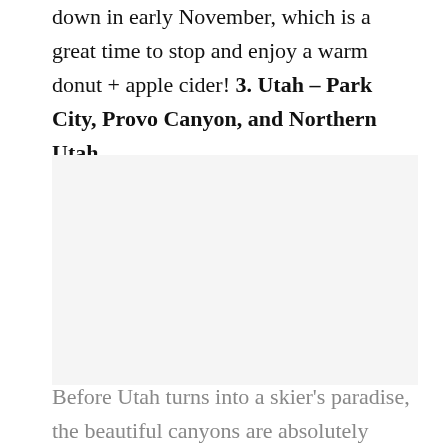down in early November, which is a great time to stop and enjoy a warm donut + apple cider! 3. Utah – Park City, Provo Canyon, and Northern Utah
[Figure (photo): A photograph related to Utah – Park City, Provo Canyon, and Northern Utah fall scenery]
Before Utah turns into a skier's paradise, the beautiful canyons are absolutely